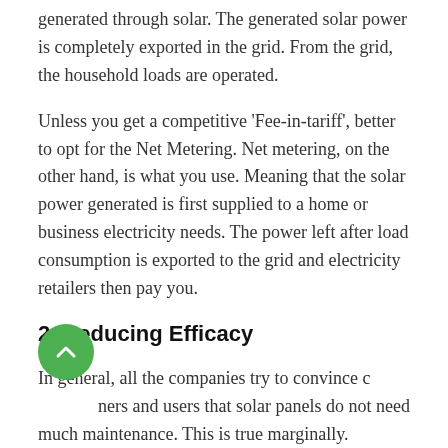generated through solar. The generated solar power is completely exported in the grid. From the grid, the household loads are operated.
Unless you get a competitive 'Fee-in-tariff', better to opt for the Net Metering. Net metering, on the other hand, is what you use. Meaning that the solar power generated is first supplied to a home or business electricity needs. The power left after load consumption is exported to the grid and electricity retailers then pay you.
2. Reducing Efficacy
In general, all the companies try to convince customers and users that solar panels do not need much maintenance. This is true marginally. Weather conditions reduce the efficacy of panels each year